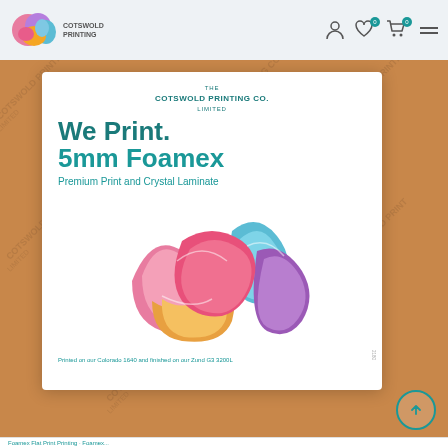COTSWOLD PRINTING
[Figure (screenshot): Cotswold Printing Co. product page showing a white card with 'We Print. 5mm Foamex Premium Print and Crystal Laminate' text on a brown cardboard background with watermark. The card contains a colorful abstract fluid art image.]
THE COTSWOLD PRINTING CO. LIMITED
We Print. 5mm Foamex
Premium Print and Crystal Laminate
Printed on our Colorado 1640 and finished on our Zund G3 3200L